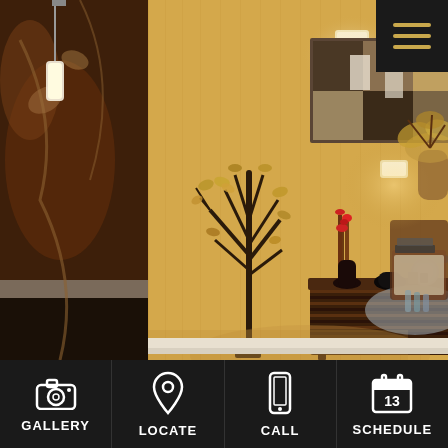[Figure (photo): Interior of a spa or salon reception area with warm golden walls, a decorative metal tree sculpture, a striped wooden credenza, framed wall art, wall sconces, floral arrangement, and a glass table with wicker chair on the right. Left side shows a dark reception desk with granite countertop and decorative wall panel.]
[Figure (screenshot): Navigation bar at bottom with four icons and labels: GALLERY (camera icon), LOCATE (map pin icon), CALL (smartphone icon), SCHEDULE (calendar with 13 icon). Black background. Top right corner has a hamburger menu button with gold/tan lines on dark background.]